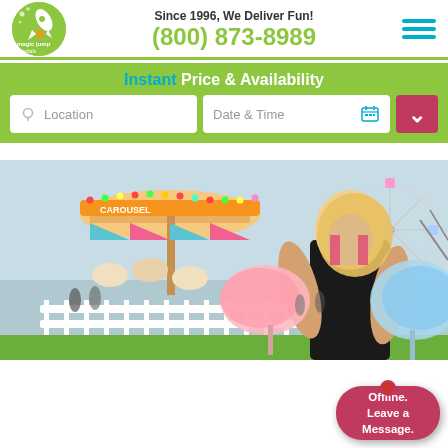[Figure (logo): Magic Jump Rentals logo - green circle with rocket and text]
Since 1996, We Deliver Fun!
(800) 873-8989
[Figure (infographic): Hamburger menu icon with three cyan horizontal lines]
Instant Price & Availability
Location
Date & Time
[Figure (photo): Woman holding cotton candy at a fairground with carousel and Ferris wheel in background]
Offline. Leave a Message.